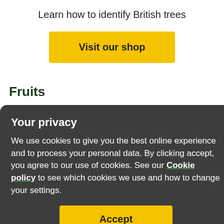Learn how to identify British trees
Visit our shop
Fruits
The fruits of these two spiny species can be seen around the same time, but there's no mistaking which is which.
Blackthorn has small dark berries: sloes. They're about 1cm across and grow from around September to December. Commonly used for flavouring gin, sloes are also popular for making wine. Try our sloe gin recipe this autumn.
Your privacy
We use cookies to give you the best online experience and to process your personal data. By clicking accept, you agree to our use of cookies. See our Cookie policy to see which cookies we use and how to change your settings.
Accept